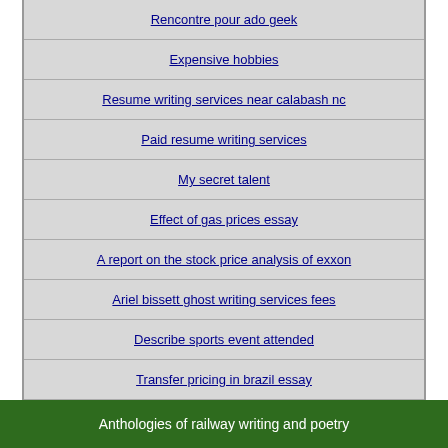Rencontre pour ado geek
Expensive hobbies
Resume writing services near calabash nc
Paid resume writing services
My secret talent
Effect of gas prices essay
A report on the stock price analysis of exxon
Ariel bissett ghost writing services fees
Describe sports event attended
Transfer pricing in brazil essay
Anthologies of railway writing and poetry